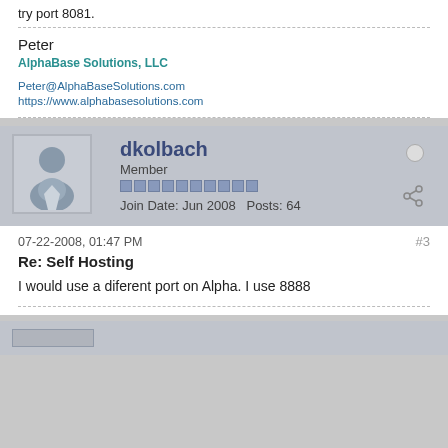try port 8081.
Peter
AlphaBase Solutions, LLC
Peter@AlphaBaseSolutions.com
https://www.alphabasesolutions.com
dkolbach
Member
Join Date: Jun 2008   Posts: 64
07-22-2008, 01:47 PM
#3
Re: Self Hosting
I would use a diferent port on Alpha. I use 8888